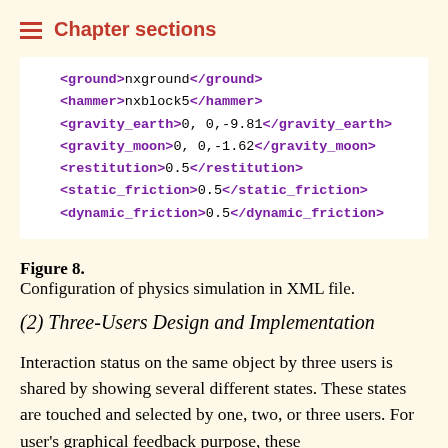Chapter sections
<ground>nxground</ground>
<hammer>nxblock5</hammer>
<gravity_earth>0, 0,-9.81</gravity_earth>
<gravity_moon>0, 0,-1.62</gravity_moon>
<restitution>0.5</restitution>
<static_friction>0.5</static_friction>
<dynamic_friction>0.5</dynamic_friction>
Figure 8. Configuration of physics simulation in XML file.
(2) Three-Users Design and Implementation
Interaction status on the same object by three users is shared by showing several different states. These states are touched and selected by one, two, or three users. For user's graphical feedback purpose, these states are described by color yellow, cyan, green